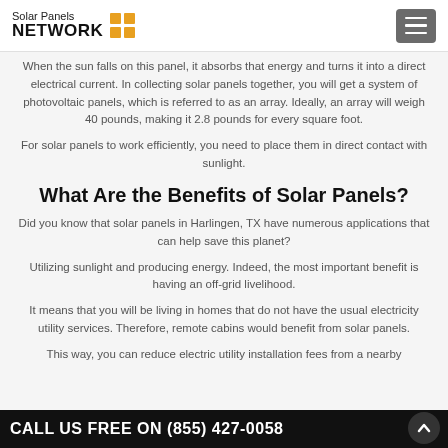Solar Panels NETWORK
When the sun falls on this panel, it absorbs that energy and turns it into a direct electrical current. In collecting solar panels together, you will get a system of photovoltaic panels, which is referred to as an array. Ideally, an array will weigh 40 pounds, making it 2.8 pounds for every square foot.
For solar panels to work efficiently, you need to place them in direct contact with sunlight.
What Are the Benefits of Solar Panels?
Did you know that solar panels in Harlingen, TX have numerous applications that can help save this planet?
Utilizing sunlight and producing energy. Indeed, the most important benefit is having an off-grid livelihood.
It means that you will be living in homes that do not have the usual electricity utility services. Therefore, remote cabins would benefit from solar panels.
This way, you can reduce electric utility installation fees from a nearby...
CALL US FREE ON (855) 427-0058